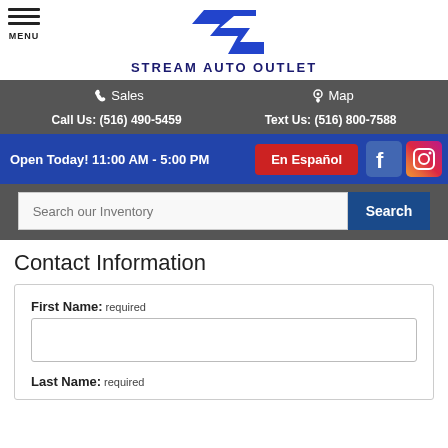[Figure (logo): Stream Auto Outlet logo with stylized blue S arrow and bold text STREAM AUTO OUTLET]
Sales   Map
Call Us: (516) 490-5459   Text Us: (516) 800-7588
Open Today! 11:00 AM - 5:00 PM
En Español
Search our Inventory
Contact Information
First Name: required
Last Name: required